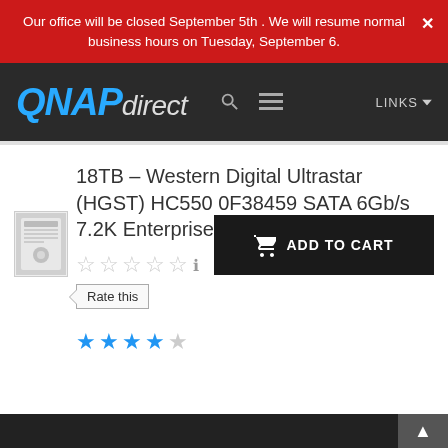Our office will be closed September 5th . We will resume normal business hours on Tuesday, September 6.
[Figure (logo): QNAPdirect logo with blue QNAP and grey direct text on dark background]
18TB – Western Digital Ultrastar (HGST) HC550 0F38459 SATA 6Gb/s 7.2K Enterprise - WUH721818ALE6L4
Rate this
[Figure (other): ADD TO CART button]